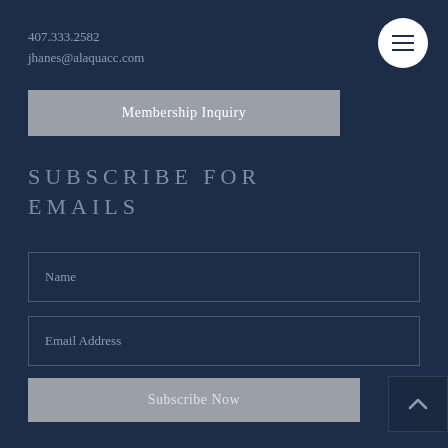407.333.2582
jhanes@alaquacc.com
[Figure (other): Hamburger menu button (three horizontal lines) in a white circle, top right corner]
Membership Inquiry
SUBSCRIBE FOR EMAILS
Name
Email Address
Subscribe Now
[Figure (other): Facebook icon (letter f) inside a white circle]
[Figure (other): Back to top arrow (^) in a dark square box, bottom right]
FOLLOW US ON FACEBOOK
© 2018 design by designkinginc.com